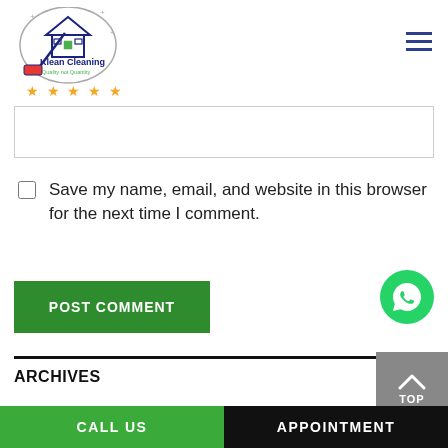[Figure (logo): Klean Cleaning logo with house icon, broom, circular design, and tagline 'Quality not Quantity'. Five gold stars below.]
[Figure (screenshot): Empty text input box (comment/website field)]
Save my name, email, and website in this browser for the next time I comment.
[Figure (other): POST COMMENT green button]
[Figure (other): WhatsApp green circle icon]
ARCHIVES
August 2022
[Figure (other): Back to top button (grey, chevron up, TOP label)]
CALL US  APPOINTMENT